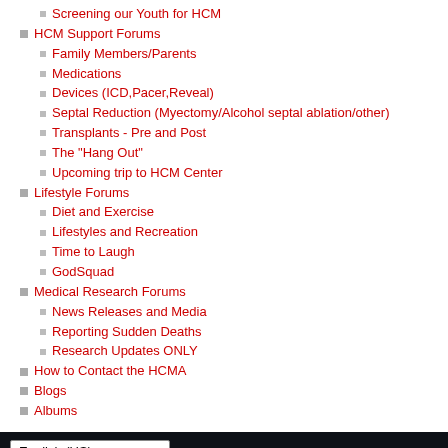Screening our Youth for HCM
HCM Support Forums
Family Members/Parents
Medications
Devices (ICD,Pacer,Reveal)
Septal Reduction (Myectomy/Alcohol septal ablation/other)
Transplants - Pre and Post
The "Hang Out"
Upcoming trip to HCM Center
Lifestyle Forums
Diet and Exercise
Lifestyles and Recreation
Time to Laugh
GodSquad
Medical Research Forums
News Releases and Media
Reporting Sudden Deaths
Research Updates ONLY
How to Contact the HCMA
Blogs
Albums
Website Content Copyright ©2014 Hypertrophic Cardiomyopathy Association™ Powered by vBulletin® Version 5.6.9 Copyright © 2022 MH Sub I, LLC dba vBulletin. All rights reserved. All times are GMT-5. This page was generated at 07:25 AM.